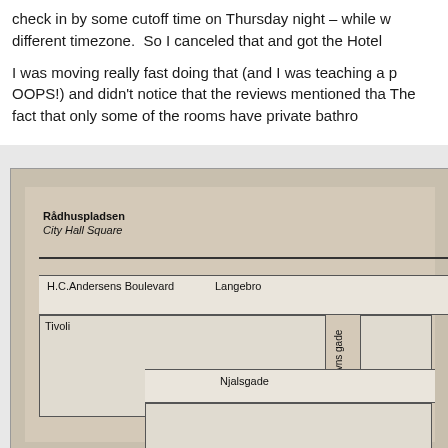check in by some cutoff time on Thursday night – while w different timezone. So I canceled that and got the Hotel
I was moving really fast doing that (and I was teaching a p OOPS!) and didn't notice that the reviews mentioned tha The fact that only some of the rooms have private bathro
[Figure (map): Partial street map showing Rådhuspladsen (City Hall Square) area in Copenhagen, with streets including H.C. Andersens Boulevard, Langebro, Tivoli, Njalsgade, and Egilsgade labeled. Thorshavns gade appears vertically. Map shows block outlines in grey on a tan/beige background.]